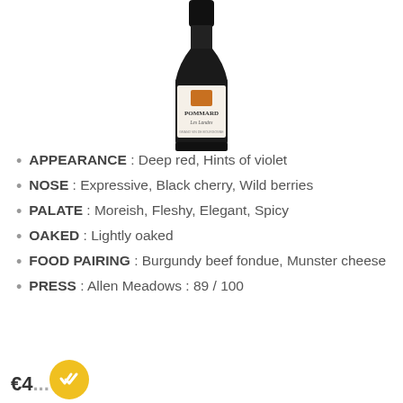[Figure (photo): Wine bottle of Pommard Les Landes with orange label, black capsule, cream label area]
APPEARANCE : Deep red, Hints of violet
NOSE : Expressive, Black cherry, Wild berries
PALATE : Moreish, Fleshy, Elegant, Spicy
OAKED : Lightly oaked
FOOD PAIRING : Burgundy beef fondue, Munster cheese
PRESS : Allen Meadows : 89 / 100
€4...